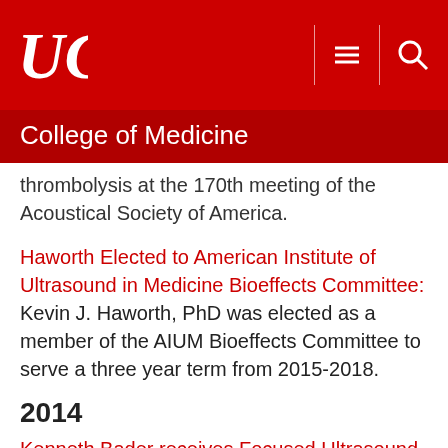UC College of Medicine
thrombolysis at the 170th meeting of the Acoustical Society of America.
Haworth Elected to American Institute of Ultrasound in Medicine Bioeffects Committee: Kevin J. Haworth, PhD was elected as a member of the AIUM Bioeffects Committee to serve a three year term from 2015-2018.
2014
Kenneth Bader receives Focused Ultrasound...